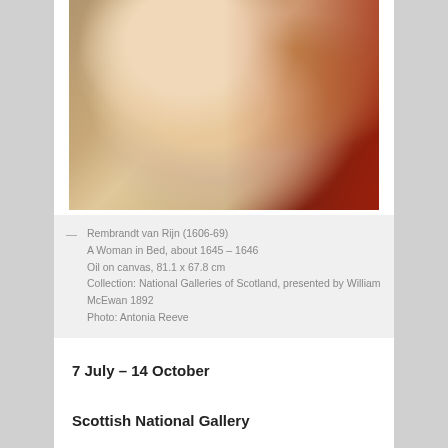[Figure (photo): Painting by Rembrandt van Rijn showing a woman in bed, partially draped in white fabric, with red drapery visible on the right side. The woman has blonde hair and looks to the side.]
— Rembrandt van Rijn (1606-69)
A Woman in Bed, about 1645 – 1646
Oil on canvas, 81.1 x 67.8 cm
Collection: National Galleries of Scotland, presented by William McEwan 1892
Photo: Antonia Reeve
7 July – 14 October
Scottish National Gallery